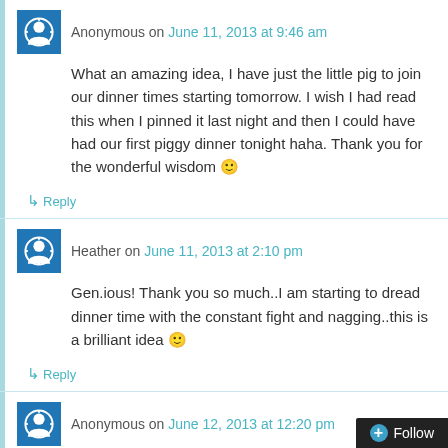Anonymous on June 11, 2013 at 9:46 am
What an amazing idea, I have just the little pig to join our dinner times starting tomorrow. I wish I had read this when I pinned it last night and then I could have had our first piggy dinner tonight haha. Thank you for the wonderful wisdom 🙂
↳ Reply
Heather on June 11, 2013 at 2:10 pm
Gen.ious! Thank you so much..I am starting to dread dinner time with the constant fight and nagging..this is a brilliant idea 🙂
↳ Reply
Anonymous on June 12, 2013 at 12:20 pm
My girls are younger as well. I was thinking of using this idea, but starting them out with some pennies. Everytime she does something wrong, she has to put one in the pig. Any leftover she gets to keep. My older daughter (4) loves puttin